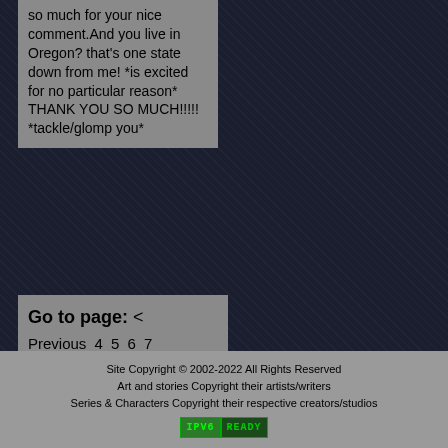so much for your nice comment.And you live in Oregon? that's one state down from me! *is excited for no particular reason* THANK YOU SO MUCH!!!!! *tackle/glomp you*
Go to page: < Previous 4 5 6 7 8 9 10 11 12 13 Next > All
Site Copyright © 2002-2022 All Rights Reserved
Art and stories Copyright their artists/writers
Series & Characters Copyright their respective creators/studios